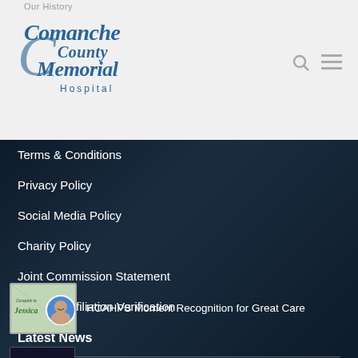Our History
[Figure (logo): Comanche County Memorial Hospital logo in blue cursive and sans-serif text]
Terms & Conditions
Privacy Policy
Social Media Policy
Charity Policy
Joint Commission Statement
Provider Affiliation Verification
Latest News
[Figure (photo): Thumbnail image with text Congrats to Jessica and a circular portrait photo of a smiling woman]
HCAHPS Moment Recognition for Great Care
[Figure (illustration): Occupational VS Physical Therapy logo with scales/balance graphic]
Occupational Vs. Physical Therapy